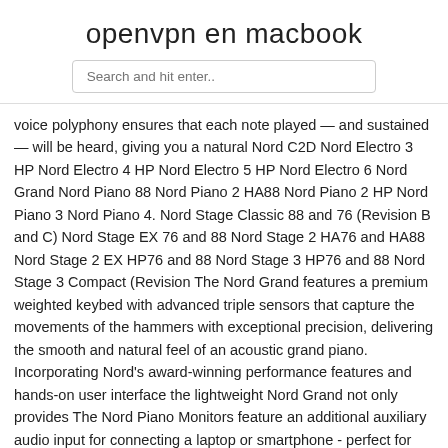openvpn en macbook
Search and hit enter..
voice polyphony ensures that each note played — and sustained — will be heard, giving you a natural Nord C2D Nord Electro 3 HP Nord Electro 4 HP Nord Electro 5 HP Nord Electro 6 Nord Grand Nord Piano 88 Nord Piano 2 HA88 Nord Piano 2 HP Nord Piano 3 Nord Piano 4. Nord Stage Classic 88 and 76 (Revision B and C) Nord Stage EX 76 and 88 Nord Stage 2 HA76 and HA88 Nord Stage 2 EX HP76 and 88 Nord Stage 3 HP76 and 88 Nord Stage 3 Compact (Revision The Nord Grand features a premium weighted keybed with advanced triple sensors that capture the movements of the hammers with exceptional precision, delivering the smooth and natural feel of an acoustic grand piano. Incorporating Nord's award-winning performance features and hands-on user interface the lightweight Nord Grand not only provides The Nord Piano Monitors feature an additional auxiliary audio input for connecting a laptop or smartphone - perfect for playing along, rehearsing or just listening to music. Mountable on Nord Piano 4, Nord Grand & Nord Stage 3 Rev b HP76